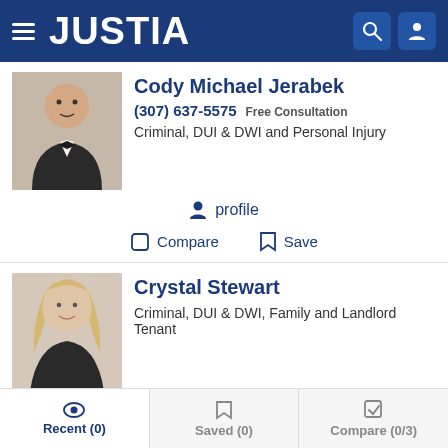JUSTIA
Cody Michael Jerabek
(307) 637-5575 Free Consultation
Criminal, DUI & DWI and Personal Injury
profile
Compare  Save
Crystal Stewart
Criminal, DUI & DWI, Family and Landlord Tenant
profile  email
Recent (0)  Saved (0)  Compare (0/3)